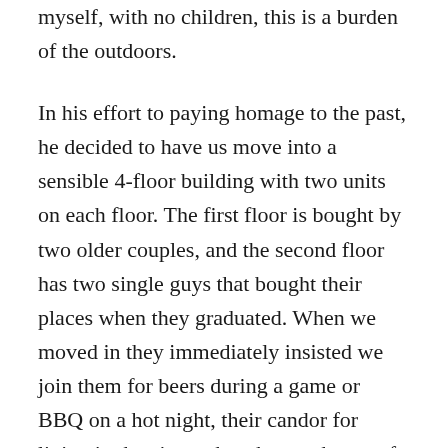parents who wish to live—many people like myself, with no children, this is a burden of the outdoors.
In his effort to paying homage to the past, he decided to have us move into a sensible 4-floor building with two units on each floor. The first floor is bought by two older couples, and the second floor has two single guys that bought their places when they graduated. When we moved in they immediately insisted we join them for beers during a game or BBQ on a hot night, their candor for living in the city makes the youth part of me appreciates my husband's gesture with sticking to these old walls.